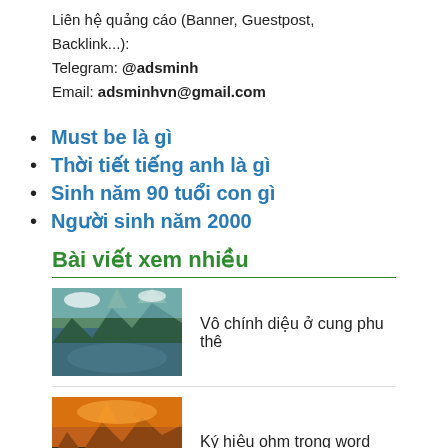Liên hệ quảng cáo (Banner, Guestpost, Backlink...):
Telegram: @adsminh
Email: adsminhvn@gmail.com
Must be là gì
Thời tiết tiếng anh là gì
Sinh năm 90 tuổi con gì
Người sinh năm 2000
Bài viết xem nhiều
[Figure (photo): Mountain lake landscape with trees and peaks]
Vô chính diệu ở cung phu thê
[Figure (photo): Autumn forest landscape with orange and red tones]
Ký hiệu ohm trong word